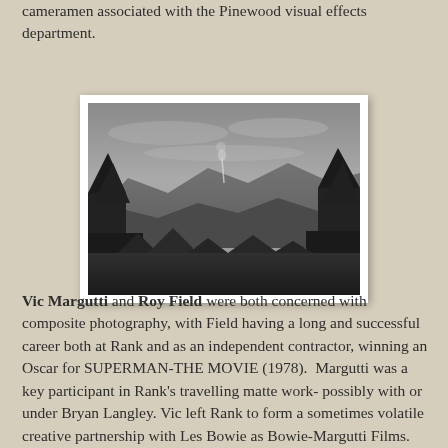cameramen associated with the Pinewood visual effects department.
[Figure (photo): Black and white photograph of a landscape scene with trees framing both sides, mountains in the background, and a thin plume of smoke or fire visible in the center distance.]
Vic Margutti and Roy Field were both concerned with composite photography, with Field having a long and successful career both at Rank and as an independent contractor, winning an Oscar for SUPERMAN-THE MOVIE (1978). Margutti was a key participant in Rank's travelling matte work- possibly with or under Bryan Langley. Vic left Rank to form a sometimes volatile creative partnership with Les Bowie as Bowie-Margutti Films. In 1956 Margutti was lured back to Pinewood to develop the new sodium vapour